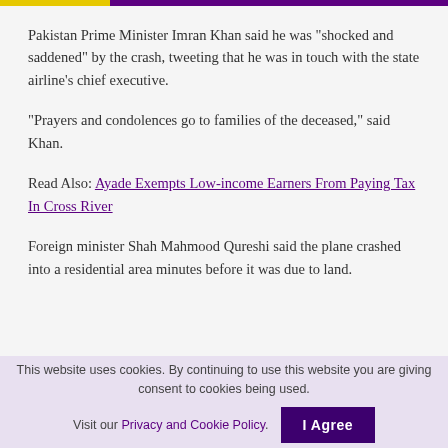Pakistan Prime Minister Imran Khan said he was “shocked and saddened” by the crash, tweeting that he was in touch with the state airline’s chief executive.
“Prayers and condolences go to families of the deceased,” said Khan.
Read Also: Ayade Exempts Low-income Earners From Paying Tax In Cross River
Foreign minister Shah Mahmood Qureshi said the plane crashed into a residential area minutes before it was due to land.
This website uses cookies. By continuing to use this website you are giving consent to cookies being used. Visit our Privacy and Cookie Policy.